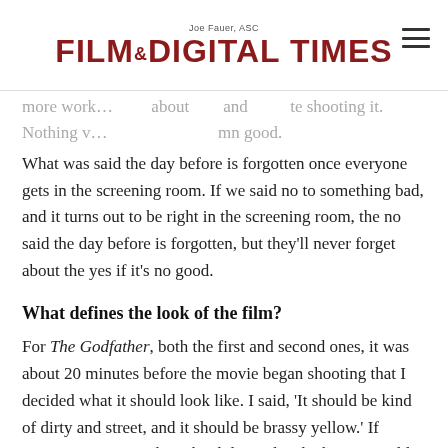Joe Fauer, ASC — FILM AND DIGITAL TIMES
more work… about and … te shooting it. Nothing v… … mn good.
What was said the day before is forgotten once everyone gets in the screening room. If we said no to something bad, and it turns out to be right in the screening room, the no said the day before is forgotten, but they'll never forget about the yes if it's no good.
What defines the look of the film?
For The Godfather, both the first and second ones, it was about 20 minutes before the movie began shooting that I decided what it should look like. I said, 'It should be kind of dirty and street, and it should be brassy yellow.' If someone were to ask, 'Why did you decide that?' I would have to say, 'I have no idea. It just felt like it should be that way.'
For part two of the series, we had the time problem of this turn-of-the-century story going into 1958, and then